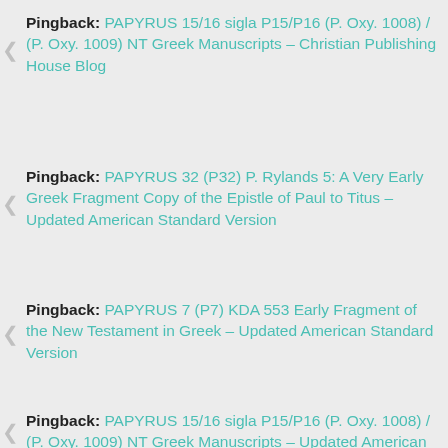Pingback: PAPYRUS 15/16 sigla P15/P16 (P. Oxy. 1008) / (P. Oxy. 1009) NT Greek Manuscripts – Christian Publishing House Blog
Pingback: PAPYRUS 32 (P32) P. Rylands 5: A Very Early Greek Fragment Copy of the Epistle of Paul to Titus – Updated American Standard Version
Pingback: PAPYRUS 7 (P7) KDA 553 Early Fragment of the New Testament in Greek – Updated American Standard Version
Pingback: PAPYRUS 8 (P8) P. Berlin 8683 Early Greek Manuscript Copy of Acts 4-6 – Updated American Standard Version
Pingback: PAPYRUS 15/16 sigla P15/P16 (P. Oxy. 1008) / (P. Oxy. 1009) NT Greek Manuscripts – Updated American Standard